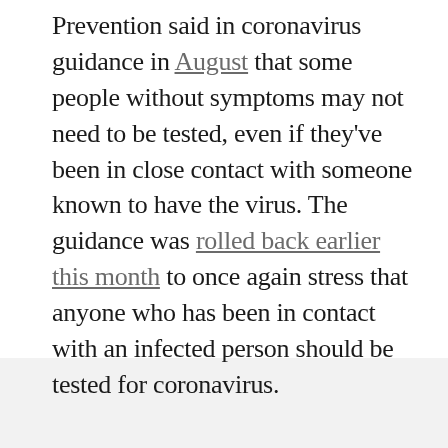Prevention said in coronavirus guidance in August that some people without symptoms may not need to be tested, even if they've been in close contact with someone known to have the virus. The guidance was rolled back earlier this month to once again stress that anyone who has been in contact with an infected person should be tested for coronavirus.